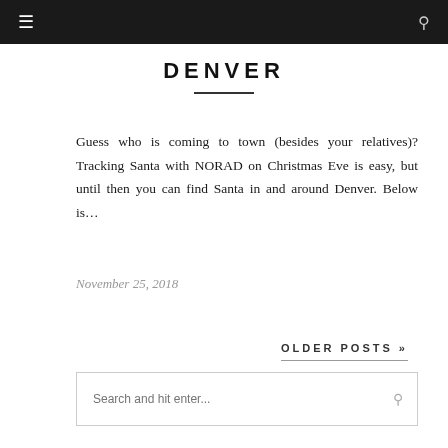≡  [search icon]
DENVER
Guess who is coming to town (besides your relatives)? Tracking Santa with NORAD on Christmas Eve is easy, but until then you can find Santa in and around Denver. Below is…
November 25, 2018
OLDER POSTS »
Search and hit enter...